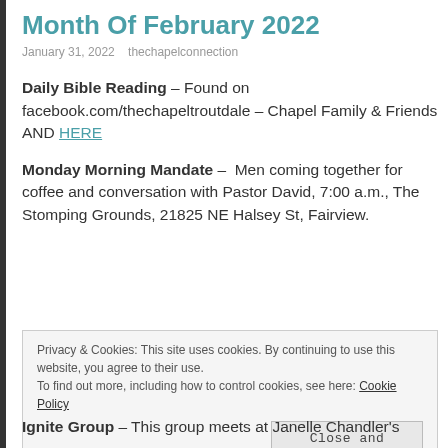Month Of February 2022
January 31, 2022   thechapelconnection
Daily Bible Reading – Found on facebook.com/thechapeltroutdale – Chapel Family & Friends AND HERE
Monday Morning Mandate –  Men coming together for coffee and conversation with Pastor David, 7:00 a.m., The Stomping Grounds, 21825 NE Halsey St, Fairview.
Privacy & Cookies: This site uses cookies. By continuing to use this website, you agree to their use. To find out more, including how to control cookies, see here: Cookie Policy  Close and accept
Ignite Group – This group meets at Janelle Chandler's